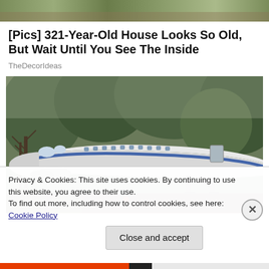[Figure (photo): Partial top cropped image of trees/nature scene]
[Pics] 321-Year-Old House Looks So Old, But Wait Until You See The Inside
TheDecorIdeas
[Figure (photo): Photograph of an old commercial airplane (Boeing 727-style) parked among trees, viewed from the front-left side. The plane is white/silver with a blue stripe. Trees surround it and its landing gear is visible.]
Privacy & Cookies: This site uses cookies. By continuing to use this website, you agree to their use.
To find out more, including how to control cookies, see here: Cookie Policy
Close and accept